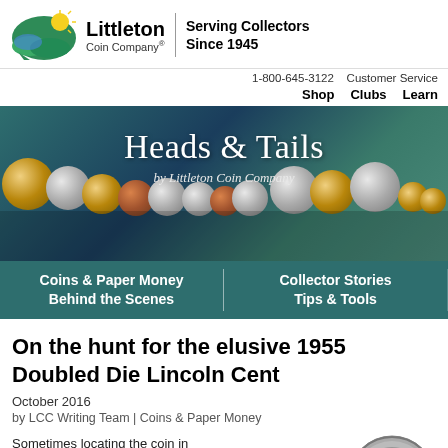[Figure (logo): Littleton Coin Company logo with sun/landscape graphic and registered trademark symbol, tagline: Serving Collectors Since 1945]
1-800-645-3122   Customer Service
Shop   Clubs   Learn
[Figure (illustration): Heads & Tails by Littleton Coin Company banner with various coins displayed on teal/dark background]
Coins & Paper Money | Collector Stories | Behind the Scenes | Tips & Tools
On the hunt for the elusive 1955 Doubled Die Lincoln Cent
October 2016
by LCC Writing Team | Coins & Paper Money
Sometimes locating the coin in
[Figure (photo): Close-up photo of a Lincoln cent coin showing the obverse]